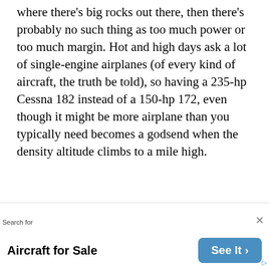where there's big rocks out there, then there's probably no such thing as too much power or too much margin. Hot and high days ask a lot of single-engine airplanes (of every kind of aircraft, the truth be told), so having a 235-hp Cessna 182 instead of a 150-hp 172, even though it might be more airplane than you typically need becomes a godsend when the density altitude climbs to a mile high.
Analyze The Costs
As with many big ticket items, the purchase price of a plane represents only a fraction of the overall cost picture. Ongoing costs include insurance, hangar or tie-down,
Search for
Aircraft for Sale
See It >